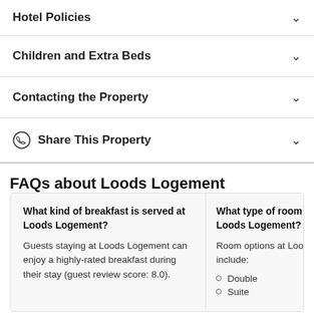Hotel Policies
Children and Extra Beds
Contacting the Property
Share This Property
FAQs about Loods Logement
What kind of breakfast is served at Loods Logement?
Guests staying at Loods Logement can enjoy a highly-rated breakfast during their stay (guest review score: 8.0).
What type of room ca... Loods Logement?
Room options at Lood... include:
Double
Suite